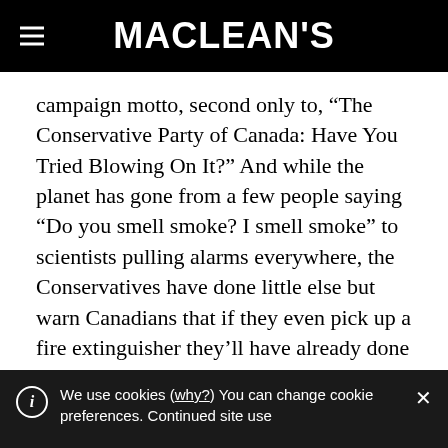MACLEAN'S
campaign motto, second only to, “The Conservative Party of Canada: Have You Tried Blowing On It?” And while the planet has gone from a few people saying “Do you smell smoke? I smell smoke” to scientists pulling alarms everywhere, the Conservatives have done little else but warn Canadians that if they even pick up a fire extinguisher they’ll have already done worse than burn the house down. Maybe
We use cookies (why?) You can change cookie preferences. Continued site use